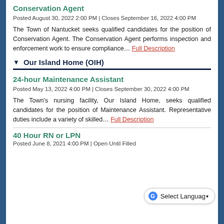Conservation Agent
Posted August 30, 2022 2:00 PM | Closes September 16, 2022 4:00 PM
The Town of Nantucket seeks qualified candidates for the position of Conservation Agent. The Conservation Agent performs inspection and enforcement work to ensure compliance… Full Description
▼ Our Island Home (OIH)
24-hour Maintenance Assistant
Posted May 13, 2022 4:00 PM | Closes September 30, 2022 4:00 PM
The Town's nursing facility, Our Island Home, seeks qualified candidates for the position of Maintenance Assistant. Representative duties include a variety of skilled… Full Description
40 Hour RN or LPN
Posted June 8, 2021 4:00 PM | Open Until Filled